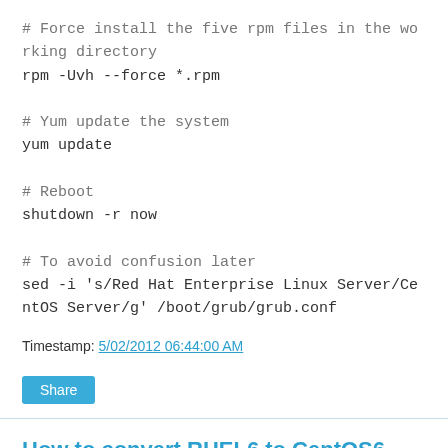# Force install the five rpm files in the working directory
rpm -Uvh --force *.rpm

# Yum update the system
yum update

# Reboot
shutdown -r now

# To avoid confusion later
sed -i 's/Red Hat Enterprise Linux Server/CentOS Server/g' /boot/grub/grub.conf
Timestamp: 5/02/2012 06:44:00 AM
Share
How to convert RHEL6 to CentOS6